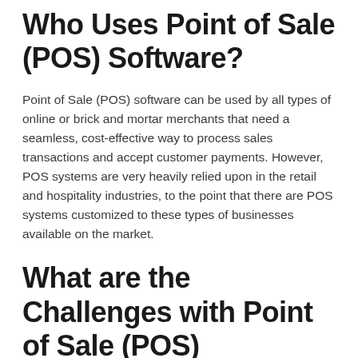Who Uses Point of Sale (POS) Software?
Point of Sale (POS) software can be used by all types of online or brick and mortar merchants that need a seamless, cost-effective way to process sales transactions and accept customer payments. However, POS systems are very heavily relied upon in the retail and hospitality industries, to the point that there are POS systems customized to these types of businesses available on the market.
What are the Challenges with Point of Sale (POS) Software?